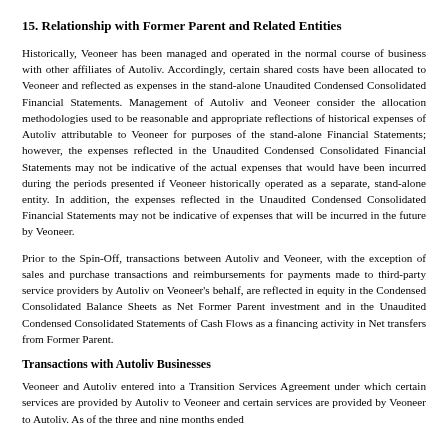15. Relationship with Former Parent and Related Entities
Historically, Veoneer has been managed and operated in the normal course of business with other affiliates of Autoliv. Accordingly, certain shared costs have been allocated to Veoneer and reflected as expenses in the stand-alone Unaudited Condensed Consolidated Financial Statements. Management of Autoliv and Veoneer consider the allocation methodologies used to be reasonable and appropriate reflections of historical expenses of Autoliv attributable to Veoneer for purposes of the stand-alone Financial Statements; however, the expenses reflected in the Unaudited Condensed Consolidated Financial Statements may not be indicative of the actual expenses that would have been incurred during the periods presented if Veoneer historically operated as a separate, stand-alone entity. In addition, the expenses reflected in the Unaudited Condensed Consolidated Financial Statements may not be indicative of expenses that will be incurred in the future by Veoneer.
Prior to the Spin-Off, transactions between Autoliv and Veoneer, with the exception of sales and purchase transactions and reimbursements for payments made to third-party service providers by Autoliv on Veoneer's behalf, are reflected in equity in the Condensed Consolidated Balance Sheets as Net Former Parent investment and in the Unaudited Condensed Consolidated Statements of Cash Flows as a financing activity in Net transfers from Former Parent.
Transactions with Autoliv Businesses
Veoneer and Autoliv entered into a Transition Services Agreement under which certain services are provided by Autoliv to Veoneer and certain services are provided by Veoneer to Autoliv. As of the three and nine months ended